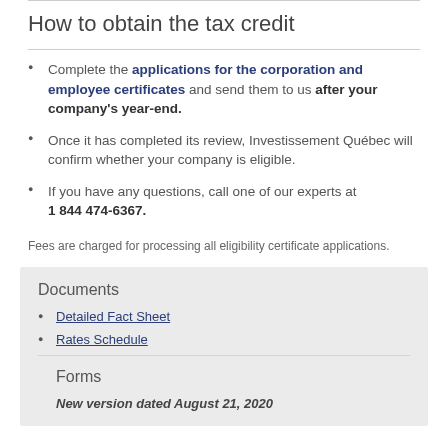How to obtain the tax credit
Complete the applications for the corporation and employee certificates and send them to us after your company's year-end.
Once it has completed its review, Investissement Québec will confirm whether your company is eligible.
If you have any questions, call one of our experts at 1 844 474-6367.
Fees are charged for processing all eligibility certificate applications.
Documents
Detailed Fact Sheet
Rates Schedule
Forms
New version dated August 21, 2020